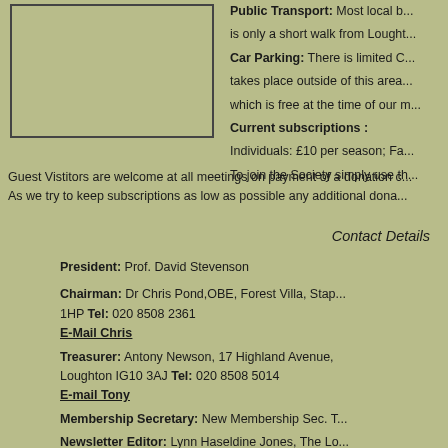[Figure (other): A rectangular bordered image box, empty/placeholder]
Public Transport: Most local b... is only a short walk from Lought... Car Parking: There is limited C... takes place outside of this area... which is free at the time of our m... Current subscriptions : Individuals: £10 per season; Fa... To join the Society simply use th...
Guest Vistitors are welcome at all meetings on payment of a donation c... As we try to keep subscriptions as low as possible any additional dona...
Contact Details
President: Prof. David Stevenson
Chairman: Dr Chris Pond,OBE, Forest Villa, Stap... 1HP Tel: 020 8508 2361 E-Mail Chris
Treasurer: Antony Newson, 17 Highland Avenue, Loughton IG10 3AJ Tel: 020 8508 5014 E-mail Tony
Membership Secretary: New Membership Sec. T...
Newsletter Editor: Lynn Haseldine Jones, The Lo... Woodford Road, London E18 2UB Tel: 020 8530 3409 E-mail Lynn